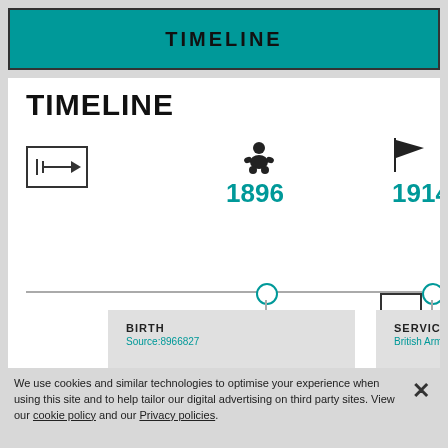TIMELINE
TIMELINE
[Figure (infographic): Interactive timeline showing two events: Birth (1896) marked with a baby icon and a teal circle on the timeline, and Service (1914) marked with a flag icon and a teal circle. Navigation arrows left and right. Cards below show BIRTH with Source: 8966827 and SERVICE with British Army.]
We use cookies and similar technologies to optimise your experience when using this site and to help tailor our digital advertising on third party sites. View our cookie policy and our Privacy policies.